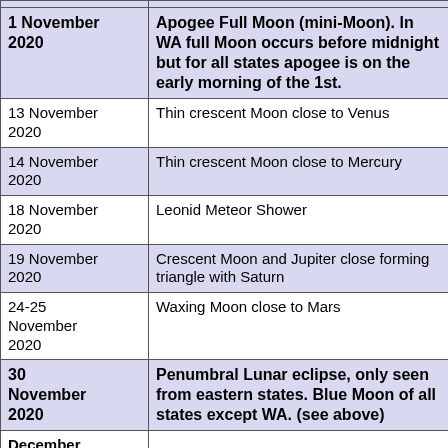| Date | Event |
| --- | --- |
| 1 November 2020 | Apogee Full Moon (mini-Moon). In WA full Moon occurs before midnight but for all states apogee is on the early morning of the 1st. |
| 13 November 2020 | Thin crescent Moon close to Venus |
| 14 November 2020 | Thin crescent Moon close to Mercury |
| 18 November 2020 | Leonid Meteor Shower |
| 19 November 2020 | Crescent Moon and Jupiter close forming triangle with Saturn |
| 24-25 November 2020 | Waxing Moon close to Mars |
| 30 November 2020 | Penumbral Lunar eclipse, only seen from eastern states. Blue Moon of all states except WA. (see above) |
| December |  |